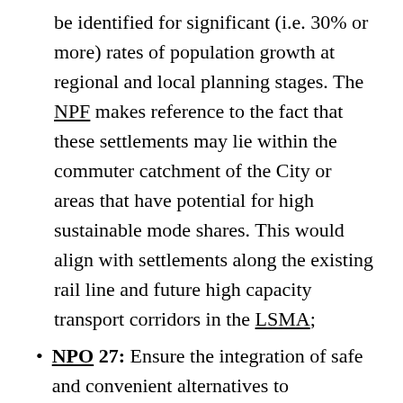be identified for significant (i.e. 30% or more) rates of population growth at regional and local planning stages. The NPF makes reference to the fact that these settlements may lie within the commuter catchment of the City or areas that have potential for high sustainable mode shares. This would align with settlements along the existing rail line and future high capacity transport corridors in the LSMA;
NPO 27: Ensure the integration of safe and convenient alternatives to